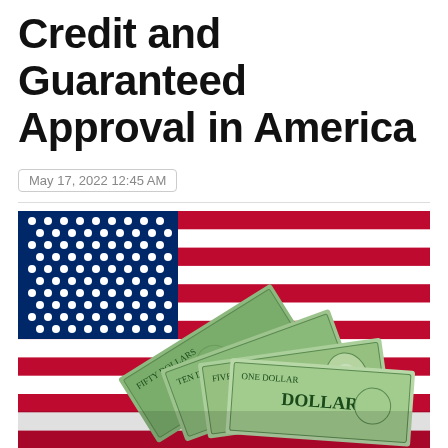Credit and Guaranteed Approval in America
May 17, 2022 12:45 AM
[Figure (photo): US American flag with a fan of US dollar bills (50, 10, 5 denominations visible) spread on top of it]